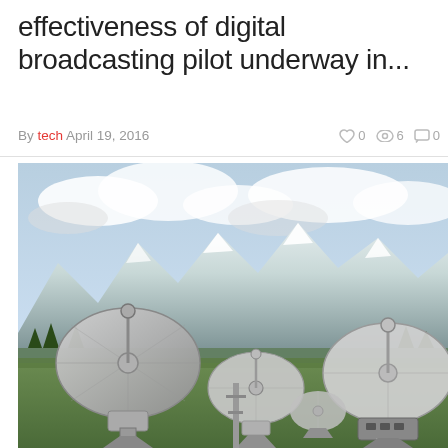effectiveness of digital broadcasting pilot underway in...
By tech  April 19, 2016   👍 0  👁 6  💬 0
[Figure (photo): Large satellite dish antennas in a field with snow-capped mountains and cloudy sky in the background.]